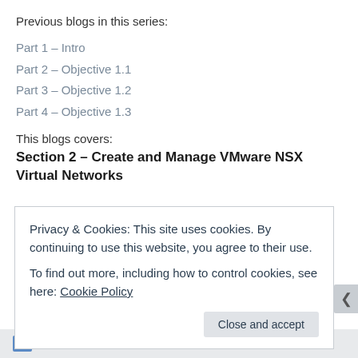Previous blogs in this series:
Part 1 – Intro
Part 2 – Objective 1.1
Part 3 – Objective 1.2
Part 4 – Objective 1.3
This blogs covers:
Section 2 – Create and Manage VMware NSX Virtual Networks
Privacy & Cookies: This site uses cookies. By continuing to use this website, you agree to their use.
To find out more, including how to control cookies, see here: Cookie Policy
Close and accept
Follow